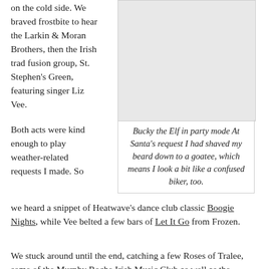on the cold side. We braved frostbite to hear the Larkin & Moran Brothers, then the Irish trad fusion group, St. Stephen's Green, featuring singer Liz Vee.
[Figure (photo): Photo of Bucky the Elf in party mode]
Bucky the Elf in party mode At Santa's request I had shaved my beard down to a goatee, which means I look a bit like a confused biker, too.
Both acts were kind enough to play weather-related requests I made. So we heard a snippet of Heatwave's dance club classic Boogie Nights, while Vee belted a few bars of Let It Go from Frozen.
We stuck around until the end, catching a few Roses of Tralee, some of the Murphy Roche Irish Music Club as well as the comedy stylings of Pat Chase and Bridget McGuire. Everybody